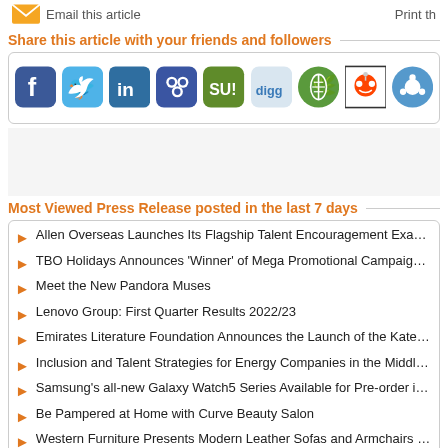Email this article
Print th
Share this article with your friends and followers
[Figure (infographic): Row of social media sharing icons: Facebook, Twitter, LinkedIn, Friendster, StumbleUpon, Digg, Newsvine, Reddit, and one more partially visible]
Most Viewed Press Release posted in the last 7 days
Allen Overseas Launches Its Flagship Talent Encouragement Exam in the G
TBO Holidays Announces 'Winner' of Mega Promotional Campaign for Trave
Meet the New Pandora Muses
Lenovo Group: First Quarter Results 2022/23
Emirates Literature Foundation Announces the Launch of the Kateb Maktub
Inclusion and Talent Strategies for Energy Companies in the Middle East
Samsung's all-new Galaxy Watch5 Series Available for Pre-order in the UAE
Be Pampered at Home with Curve Beauty Salon
Western Furniture Presents Modern Leather Sofas and Armchairs by Dand